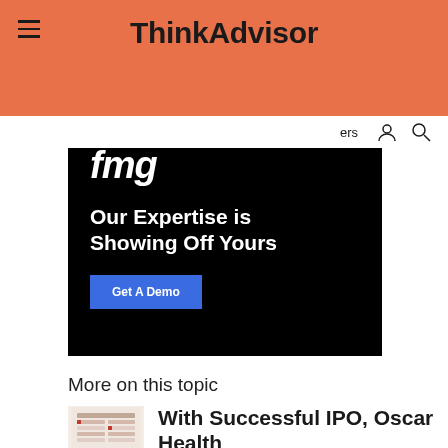ThinkAdvisor
[Figure (screenshot): FMG advertisement banner on black background. Logo 'fmg' in white italic text at top left. Headline text: 'Our Expertise is Showing Off Yours'. Blue 'Get A Demo' button below.]
More on this topic
[Figure (photo): Thumbnail image showing a document or table related to Oscar Health IPO article]
With Successful IPO, Oscar Health